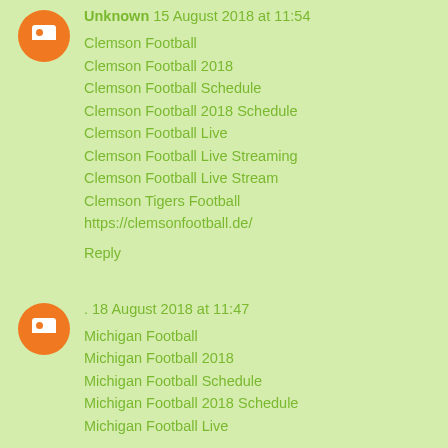Unknown 15 August 2018 at 11:54
Clemson Football
Clemson Football 2018
Clemson Football Schedule
Clemson Football 2018 Schedule
Clemson Football Live
Clemson Football Live Streaming
Clemson Football Live Stream
Clemson Tigers Football
https://clemsonfootball.de/
Reply
. 18 August 2018 at 11:47
Michigan Football
Michigan Football 2018
Michigan Football Schedule
Michigan Football 2018 Schedule
Michigan Football Live